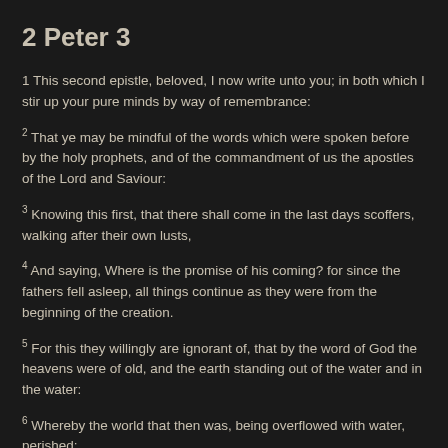2 Peter 3
1 This second epistle, beloved, I now write unto you; in both which I stir up your pure minds by way of remembrance:
2 That ye may be mindful of the words which were spoken before by the holy prophets, and of the commandment of us the apostles of the Lord and Saviour:
3 Knowing this first, that there shall come in the last days scoffers, walking after their own lusts,
4 And saying, Where is the promise of his coming? for since the fathers fell asleep, all things continue as they were from the beginning of the creation.
5 For this they willingly are ignorant of, that by the word of God the heavens were of old, and the earth standing out of the water and in the water:
6 Whereby the world that then was, being overflowed with water, perished: